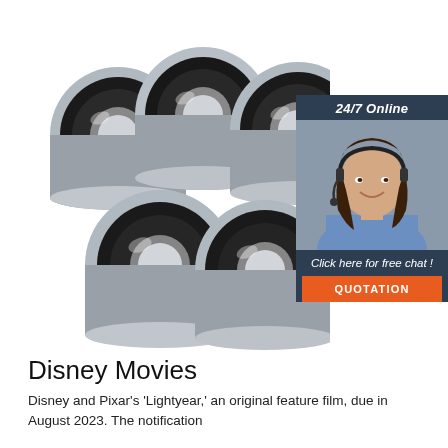[Figure (photo): Five chrome/steel ball bearings with black rubber seals arranged in a cluster on a white background]
[Figure (infographic): Customer service chat widget showing '24/7 Online' header, photo of smiling woman with headset, 'Click here for free chat!' text, and an orange QUOTATION button]
Disney Movies
Disney and Pixar's 'Lightyear,' an original feature film, due in August 2023. The notification...